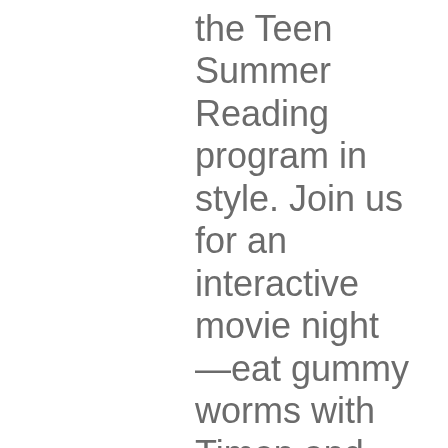the Teen Summer Reading program in style. Join us for an interactive movie night—eat gummy worms with Timon and Pumba, coconut candy